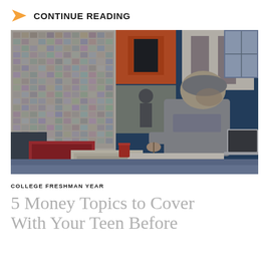CONTINUE READING
[Figure (photo): Young man wearing a grey New York University sweatshirt and grey beanie sitting on a bed in a dorm room, writing in a notebook with a laptop beside him; walls covered in posters and photos]
COLLEGE FRESHMAN YEAR
5 Money Topics to Cover With Your Teen Before...